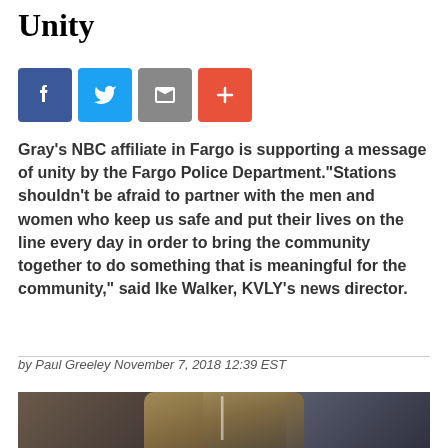Unity
[Figure (other): Social sharing buttons: Facebook, Twitter, Email, More (+)]
Gray’s NBC affiliate in Fargo is supporting a message of unity by the Fargo Police Department.“Stations shouldn’t be afraid to partner with the men and women who keep us safe and put their lives on the line every day in order to bring the community together to do something that is meaningful for the community,” said Ike Walker, KVLY’s news director.
by Paul Greeley November 7, 2018 12:39 EST
[Figure (photo): Photo of a person in a street/alley scene, appears to be a video still]